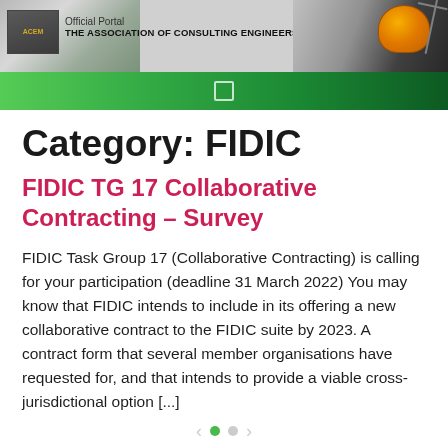Official Portal — THE ASSOCIATION OF CONSULTING ENGINEERS MALAYSIA
Category: FIDIC
FIDIC TG 17 Collaborative Contracting – Survey
FIDIC Task Group 17 (Collaborative Contracting) is calling for your participation (deadline 31 March 2022) You may know that FIDIC intends to include in its offering a new collaborative contract to the FIDIC suite by 2023. A contract form that several member organisations have requested for, and that intends to provide a viable cross-jurisdictional option [...]